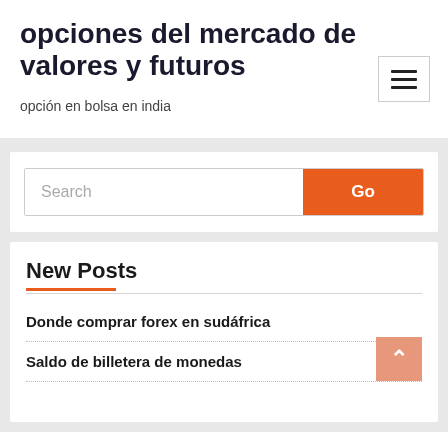opciones del mercado de valores y futuros
opción en bolsa en india
[Figure (other): Hamburger menu button icon with three horizontal lines inside a bordered rectangle]
[Figure (other): Search bar with placeholder text 'Search' and an orange 'Go' button]
New Posts
Donde comprar forex en sudáfrica
Saldo de billetera de monedas